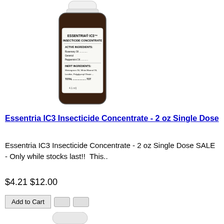[Figure (photo): A small dark brown bottle of Essentria IC3 Insecticide Concentrate with a white cap and label visible]
Essentria IC3 Insecticide Concentrate - 2 oz Single Dose
Essentria IC3 Insecticide Concentrate - 2 oz Single Dose SALE - Only while stocks last!!  This..
$4.21 $12.00
Add to Cart
[Figure (photo): Top of a second product bottle, partially visible at bottom of page]